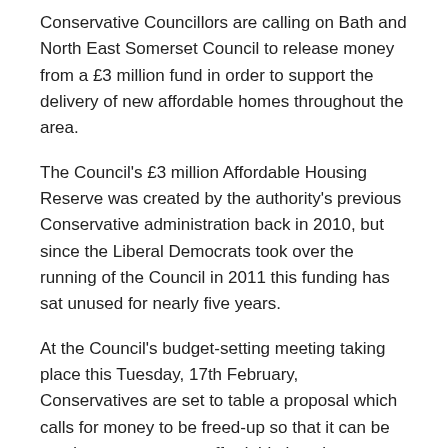Conservative Councillors are calling on Bath and North East Somerset Council to release money from a £3 million fund in order to support the delivery of new affordable homes throughout the area.
The Council's £3 million Affordable Housing Reserve was created by the authority's previous Conservative administration back in 2010, but since the Liberal Democrats took over the running of the Council in 2011 this funding has sat unused for nearly five years.
At the Council's budget-setting meeting taking place this Tuesday, 17th February, Conservatives are set to table a proposal which calls for money to be freed-up so that it can be used to support more affordable housing schemes throughout the district.
Conservative Shadow spokesman for Homes and Planning, Councillor Liz Richardson said:
“This £3 million fund was established by local Conservatives...